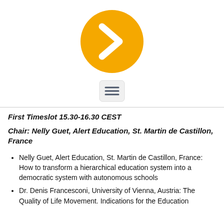[Figure (logo): Orange/yellow circle with a white chevron/arrow pointing right]
[Figure (other): Hamburger menu icon — three horizontal lines in a rounded rectangle]
First Timeslot 15.30-16.30 CEST
Chair: Nelly Guet, Alert Education, St. Martin de Castillon, France
Nelly Guet, Alert Education, St. Martin de Castillon, France: How to transform a hierarchical education system into a democratic system with autonomous schools
Dr. Denis Francesconi, University of Vienna, Austria: The Quality of Life Movement. Indications for the Education